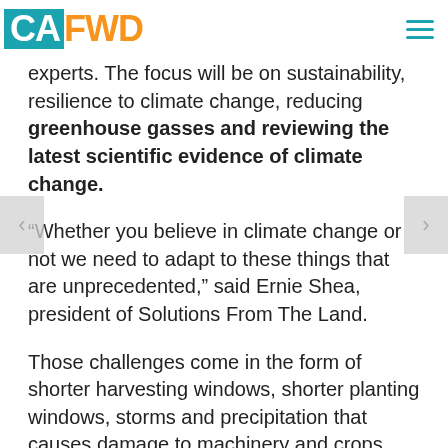CAFWD
bring together farmers, ranchers and foresters to collaborate with industry experts. The focus will be on sustainability, resilience to climate change, reducing greenhouse gasses and reviewing the latest scientific evidence of climate change.
“Whether you believe in climate change or not we need to adapt to these things that are unprecedented,” said Ernie Shea, president of Solutions From The Land.
Those challenges come in the form of shorter harvesting windows, shorter planting windows, storms and precipitation that causes damage to machinery and crops, not to mention three-year California drought, which will cost the state an estimated 2.2 billion and 17,000 jobs.
“All of these things farmers worry about because they have to figure out how to adapt,” said Shea. “What is